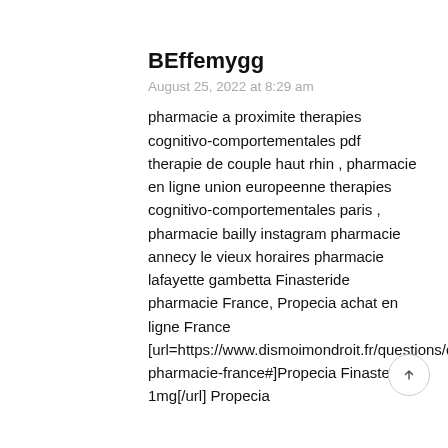BEffemygg
August 25, 2022 at 8:29 am
pharmacie a proximite therapies cognitivo-comportementales pdf therapie de couple haut rhin , pharmacie en ligne union europeenne therapies cognitivo-comportementales paris , pharmacie bailly instagram pharmacie annecy le vieux horaires pharmacie lafayette gambetta Finasteride pharmacie France, Propecia achat en ligne France [url=https://www.dismoimondroit.fr/questions/question/finasteride-pharmacie-france#]Propecia Finasteride 1mg[/url] Propecia